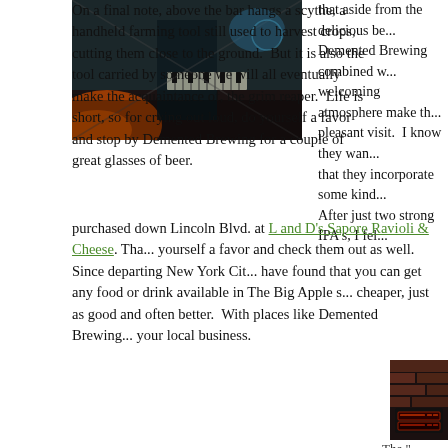[Figure (photo): Dark interior photo of what appears to be a bar or brewery with keyboard/piano visible and orange/fire lighting]
that aside from the delicious be... Demented Brewing combined w... welcoming atmosphere make th... pleasant visit. I know they wan... that they incorporate some kind... After just two strong IPA's, I fel...
purchased down Lincoln Blvd. at L and D's Sapore Ravioli & Cheese. Tha... yourself a favor and check them out as well. Since departing New York Cit... have found that you can get any food or drink available in The Big Apple s... cheaper, just as good and often better. With places like Demented Brewing... your local business.
On a final note, above the bar hangs a scythe, a handheld farming tool still used to harvest crops, cutting them close to the ground. But it is also the tool carried by someone we will all eventually make the acquaintance of, the grim reaper. Life is short, so for crying out loud, do yourself a favor and stop by Demented Brewing for a couple of great glasses of beer.
[Figure (photo): Dark photo of brick wall interior with what appears to be a menu board or sign at Demented Brewing]
The "